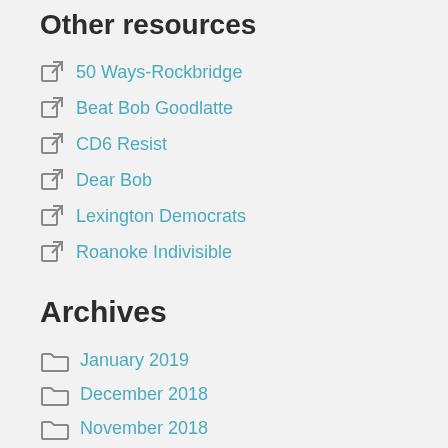Other resources
50 Ways-Rockbridge
Beat Bob Goodlatte
CD6 Resist
Dear Bob
Lexington Democrats
Roanoke Indivisible
Archives
January 2019
December 2018
November 2018
October 2018
September 2018
August 2018